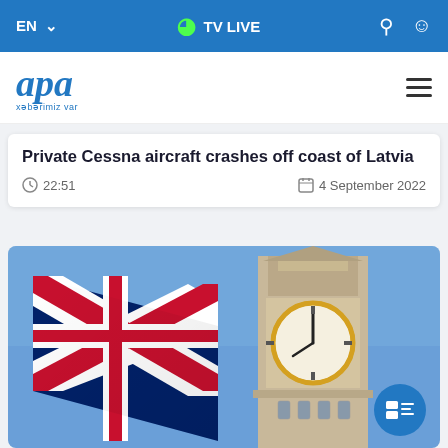EN  TV LIVE
[Figure (logo): APA news agency logo with italic blue text and tagline 'xəbərimiz var']
Private Cessna aircraft crashes off coast of Latvia
22:51    4 September 2022
[Figure (photo): Union Jack (UK flag) waving in the foreground with Big Ben clock tower in the background against a blue sky]